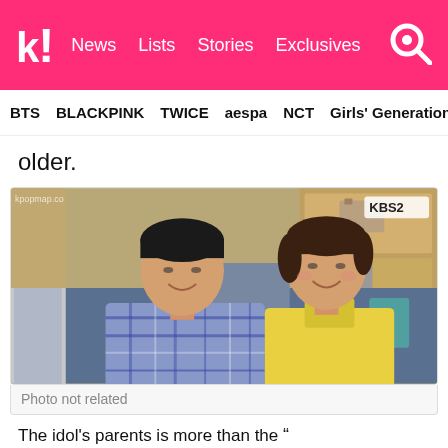k! News  Lists  Stories  Exclusives
BTS  BLACKPINK  TWICE  aespa  NCT  Girls' Generation
older.
[Figure (photo): Two middle-aged Korean people (man in plaid shirt, woman in yellow blouse) smiling on a KBS2 TV show set.]
Photo not related
The idol's parents is more than the ❝